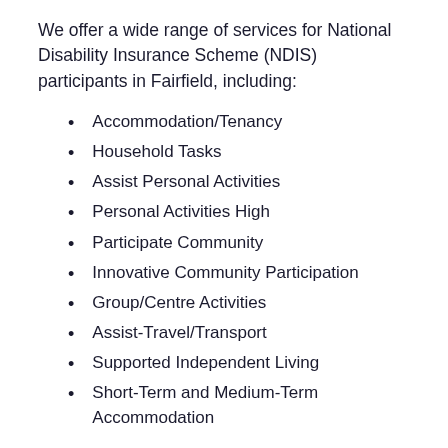We offer a wide range of services for National Disability Insurance Scheme (NDIS) participants in Fairfield, including:
Accommodation/Tenancy
Household Tasks
Assist Personal Activities
Personal Activities High
Participate Community
Innovative Community Participation
Group/Centre Activities
Assist-Travel/Transport
Supported Independent Living
Short-Term and Medium-Term Accommodation
Your personal Support Coordinator will help you decide which services you need to help you reach your goals and build strategies for more independent living. From help with daily chores and other activities such as meal prep